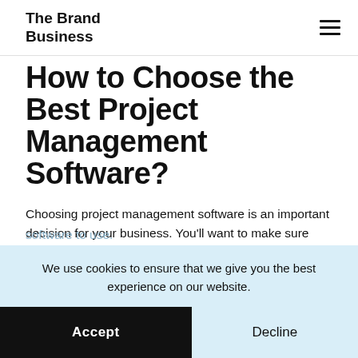The Brand Business
How to Choose the Best Project Management Software?
Choosing project management software is an important decision for your business. You'll want to make sure you're choosing the right tool for your needs, so we created a list of considerations you should think about when deciding which software to use.
We use cookies to ensure that we give you the best experience on our website.
Accept
Decline